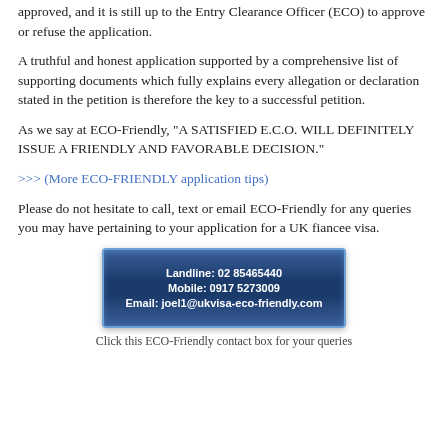approved, and it is still up to the Entry Clearance Officer (ECO) to approve or refuse the application.
A truthful and honest application supported by a comprehensive list of supporting documents which fully explains every allegation or declaration stated in the petition is therefore the key to a successful petition.
As we say at ECO-Friendly, "A SATISFIED E.C.O. WILL DEFINITELY ISSUE A FRIENDLY AND FAVORABLE DECISION."
>>> (More ECO-FRIENDLY application tips)
Please do not hesitate to call, text or email ECO-Friendly for any queries you may have pertaining to your application for a UK fiancee visa.
[Figure (infographic): Dark blue contact box with white bold text showing landline, mobile, and email contact details for ECO-Friendly.]
Click this ECO-Friendly contact box for your queries